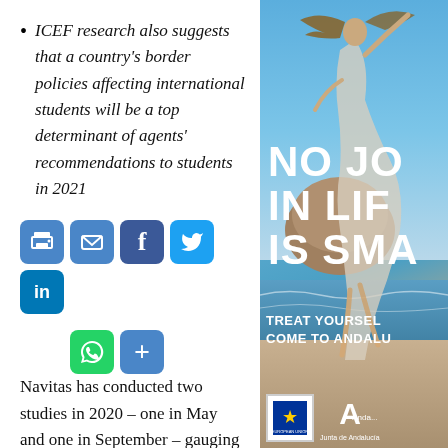ICEF research also suggests that a country's border policies affecting international students will be a top determinant of agents' recommendations to students in 2021
[Figure (infographic): Social sharing buttons: print, email, Facebook, Twitter, LinkedIn, WhatsApp, Share]
Navitas has conducted two studies in 2020 – one in May and one in September – gauging the degree to which the attractiveness of
[Figure (photo): Advertisement image showing a woman jumping on a beach with text 'NO JO IN LIE IS SMA' (partially visible, full text: NO JOY IN LIFE IS SMALL), 'TREAT YOURSELF COME TO ANDALUCIA', with EU logo and Junta de Andalucía logo at the bottom]